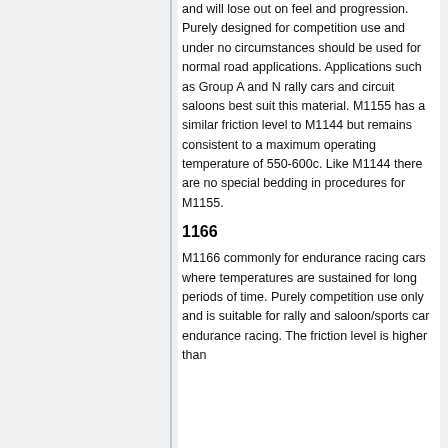and will lose out on feel and progression. Purely designed for competition use and under no circumstances should be used for normal road applications. Applications such as Group A and N rally cars and circuit saloons best suit this material. M1155 has a similar friction level to M1144 but remains consistent to a maximum operating temperature of 550-600c. Like M1144 there are no special bedding in procedures for M1155.
1166
M1166 commonly for endurance racing cars where temperatures are sustained for long periods of time. Purely competition use only and is suitable for rally and saloon/sports car endurance racing. The friction level is higher than